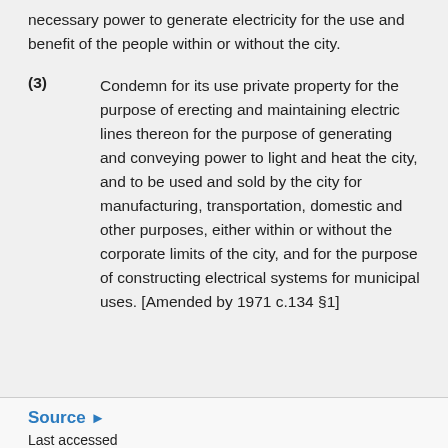necessary power to generate electricity for the use and benefit of the people within or without the city.
(3) Condemn for its use private property for the purpose of erecting and maintaining electric lines thereon for the purpose of generating and conveying power to light and heat the city, and to be used and sold by the city for manufacturing, transportation, domestic and other purposes, either within or without the corporate limits of the city, and for the purpose of constructing electrical systems for municipal uses. [Amended by 1971 c.134 §1]
Source ►
Last accessed